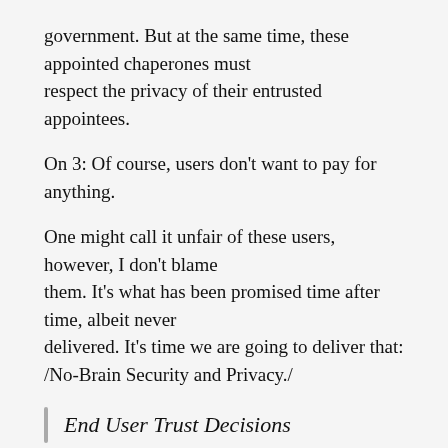government. But at the same time, these appointed chaperones must respect the privacy of their entrusted appointees.
On 3: Of course, users don't want to pay for anything.
One might call it unfair of these users, however, I don't blame them. It's what has been promised time after time, albeit never delivered. It's time we are going to deliver that: /No-Brain Security and Privacy./
End User Trust Decisions
Trust is binary. When people visit a website, either they trust it sufficiently to post their identifying details, or they